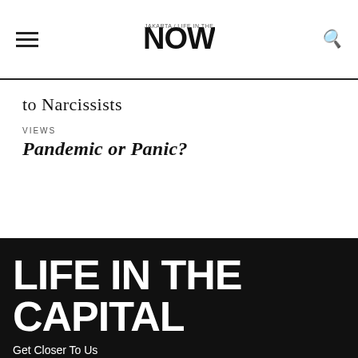NOW! Jakarta - Life in the Capital
to Narcissists
VIEWS
Pandemic or Panic?
LIFE IN THE CAPITAL
Get Closer To Us
you@example.com  Subscribe
NOW! Jakarta is a magazine for international visitors & expatriates in Jakarta, focusing on art, culture, dining, hotels and events in Jakarta.
Contact   Network